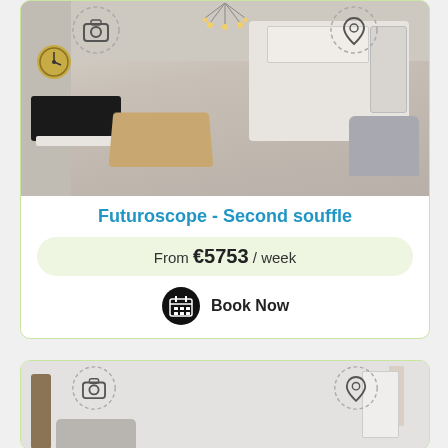[Figure (photo): Interior photo of a modern apartment living room with open kitchen, TV, dining table, chandelier, and decorative clock. Camera and map-pin overlay icons at top corners.]
Futuroscope - Second souffle
From €5753 / week
Book Now
[Figure (photo): Interior photo of a room with white walls, a cat tree, sofa, and door. Camera and map-pin overlay icons at top corners.]